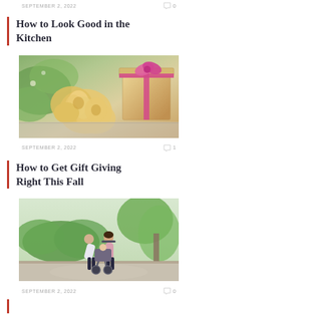SEPTEMBER 2, 2022  0
How to Look Good in the Kitchen
[Figure (photo): Yellow/cream roses next to a wrapped gift box with pink ribbon on a stone surface]
SEPTEMBER 2, 2022  1
How to Get Gift Giving Right This Fall
[Figure (photo): A couple with a baby stroller on a park path, surrounded by green hedges and trees]
SEPTEMBER 2, 2022  0